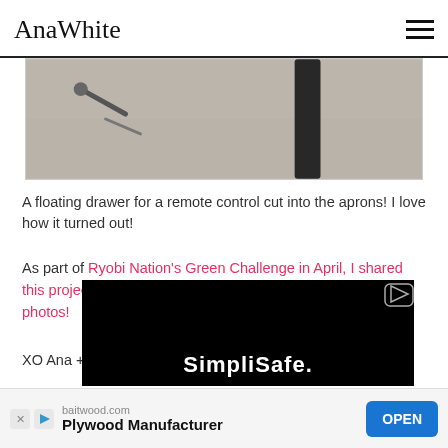AnaWhite
[Figure (photo): Close-up photo of a concrete floor with a dark table leg visible and screws/hardware nearby]
A floating drawer for a remote control cut into the aprons!  I love how it turned out!
As part of Ryobi Nation's Green Challenge in April, I shared this project plan over there.  So go check out the step by step photos!
XO Ana + Family
[Figure (screenshot): Video advertisement for SimpliSafe with play button]
baitwood.com Plywood Manufacturer OPEN